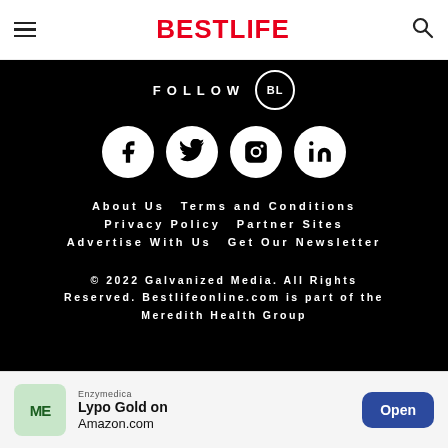BestLife
FOLLOW BL
[Figure (logo): Social media icons: Facebook, Twitter, Instagram, LinkedIn in white circles on black background]
About Us   Terms and Conditions   Privacy Policy   Partner Sites   Advertise With Us   Get Our Newsletter
© 2022 Galvanized Media. All Rights Reserved. Bestlifeonline.com is part of the Meredith Health Group
[Figure (other): Enzymedica Lypo Gold on Amazon.com advertisement banner with Open button]